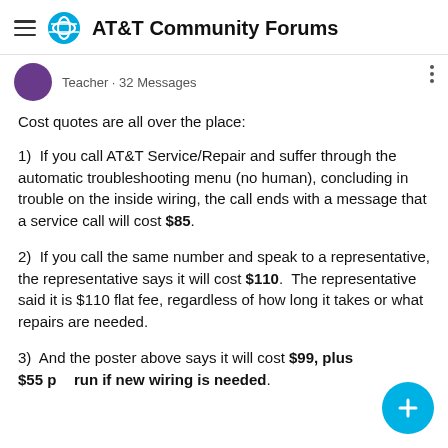AT&T Community Forums
Teacher · 32 Messages
Cost quotes are all over the place:
1)  If you call AT&T Service/Repair and suffer through the automatic troubleshooting menu (no human), concluding in trouble on the inside wiring, the call ends with a message that a service call will cost $85.
2)  If you call the same number and speak to a representative, the representative says it will cost $110.  The representative said it is $110 flat fee, regardless of how long it takes or what repairs are needed.
3)  And the poster above says it will cost $99, plus $55 per run if new wiring is needed.